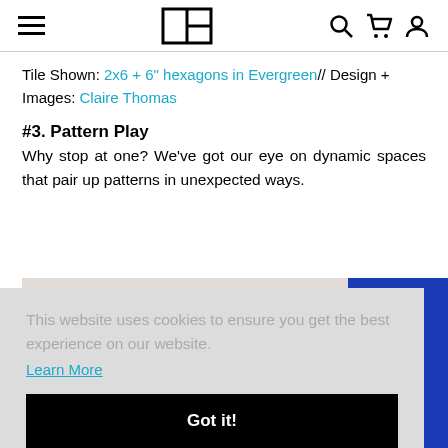Navigation bar with hamburger menu, logo, search, cart, and account icons
Tile Shown: 2x6 + 6" hexagons in Evergreen// Design + Images: Claire Thomas
#3. Pattern Play
Why stop at one? We've got our eye on dynamic spaces that pair up patterns in unexpected ways.
[Figure (photo): Partially visible bathroom photo with blue tiles on right side, overlay of cookie consent banner]
This website uses cookies to ensure you get the best experience on our website.
Learn More
Got it!